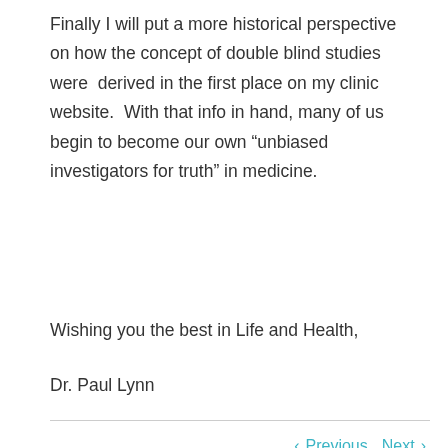Finally I will put a more historical perspective on how the concept of double blind studies were derived in the first place on my clinic website.  With that info in hand, many of us begin to become our own “unbiased investigators for truth” in medicine.
Wishing you the best in Life and Health,
Dr. Paul Lynn
‹ Previous   Next ›
[Figure (photo): Photo of a person (Dr. Paul Lynn), showing the top of the head with light hair against a grey background, partially visible at the bottom of the page.]